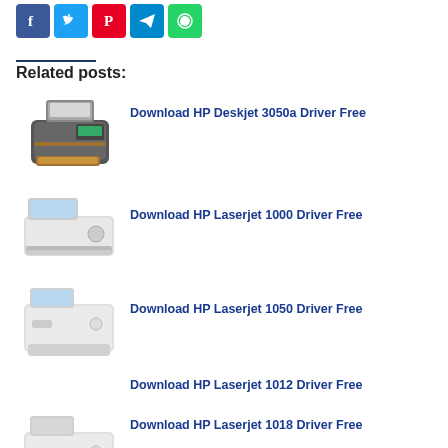[Figure (other): Social media share buttons: Facebook (blue), Twitter (cyan), Pinterest (red), Telegram (blue), WhatsApp (green)]
Related posts:
[Figure (photo): HP Deskjet 3050a printer image]
Download HP Deskjet 3050a Driver Free
[Figure (photo): HP Laserjet 1000 printer image]
Download HP Laserjet 1000 Driver Free
[Figure (photo): HP Laserjet 1050 printer image]
Download HP Laserjet 1050 Driver Free
Download HP Laserjet 1012 Driver Free
[Figure (photo): HP Laserjet 1018 printer image (partially visible)]
Download HP Laserjet 1018 Driver Free